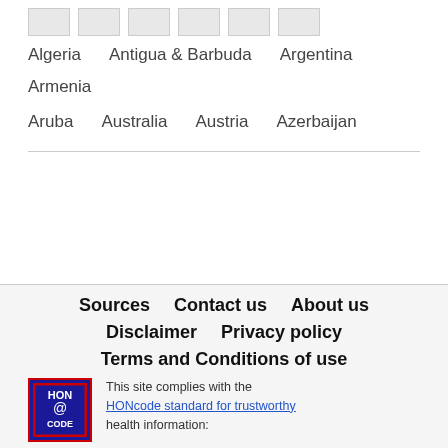[Figure (other): Row of small flag icons in grey placeholder boxes]
Algeria   Antigua & Barbuda   Argentina   Armenia
Aruba   Australia   Austria   Azerbaijan
Sources   Contact us   About us
Disclaimer   Privacy policy
Terms and Conditions of use
[Figure (logo): HONcode badge - blue square with HON@code logo in red border]
This site complies with the HONcode standard for trustworthy health information: